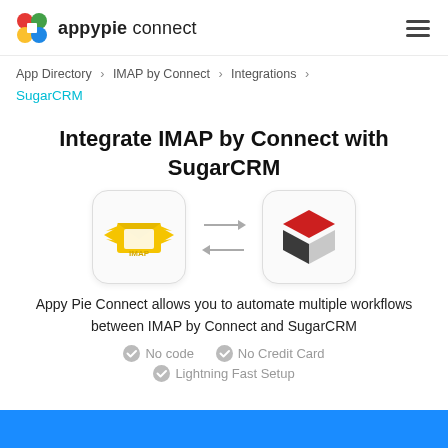appypie connect
App Directory > IMAP by Connect > Integrations > SugarCRM
Integrate IMAP by Connect with SugarCRM
[Figure (illustration): IMAP by Connect logo (yellow envelope with wings and IMAP text) and SugarCRM logo (red and dark grey cube) connected by two-way arrows]
Appy Pie Connect allows you to automate multiple workflows between IMAP by Connect and SugarCRM
No code
No Credit Card
Lightning Fast Setup